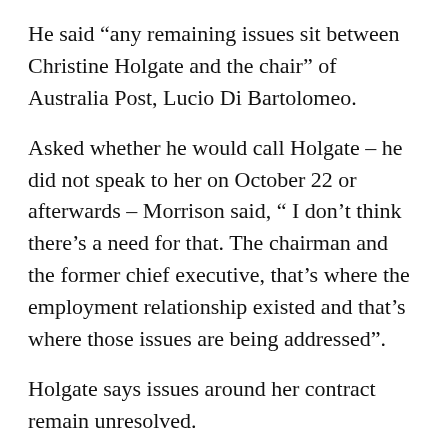He said “any remaining issues sit between Christine Holgate and the chair” of Australia Post, Lucio Di Bartolomeo.
Asked whether he would call Holgate – he did not speak to her on October 22 or afterwards – Morrison said, “ I don’t think there’s a need for that. The chairman and the former chief executive, that’s where the employment relationship existed and that’s where those issues are being addressed”.
Holgate says issues around her contract remain unresolved.
Asked if the chairman should resign – which Holgate has called for – Morrison said, “There’s nothing before me which suggests that”.
Nationals senator Matt Canavan has said Di